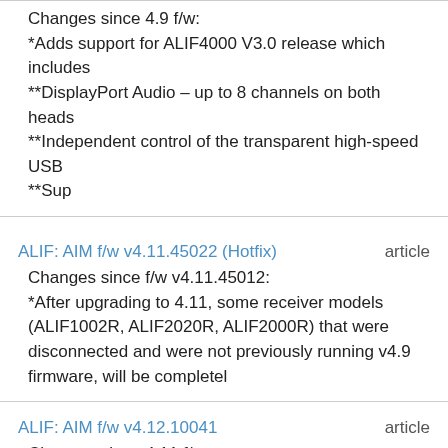Changes since 4.9 f/w:
*Adds support for ALIF4000 V3.0 release which includes
**DisplayPort Audio – up to 8 channels on both heads
**Independent control of the transparent high-speed USB
**Sup
ALIF: AIM f/w v4.11.45022 (Hotfix)    article
Changes since f/w v4.11.45012:
*After upgrading to 4.11, some receiver models (ALIF1002R, ALIF2020R, ALIF2000R) that were disconnected and were not previously running v4.9 firmware, will be completel
ALIF: AIM f/w v4.12.10041    article
Changes since 4.11 f/w: